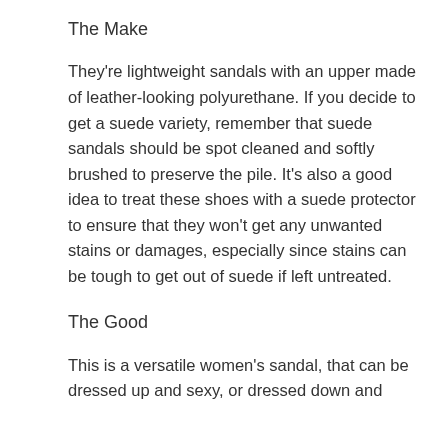The Make
They're lightweight sandals with an upper made of leather-looking polyurethane. If you decide to get a suede variety, remember that suede sandals should be spot cleaned and softly brushed to preserve the pile. It's also a good idea to treat these shoes with a suede protector to ensure that they won't get any unwanted stains or damages, especially since stains can be tough to get out of suede if left untreated.
The Good
This is a versatile women's sandal, that can be dressed up and sexy, or dressed down and